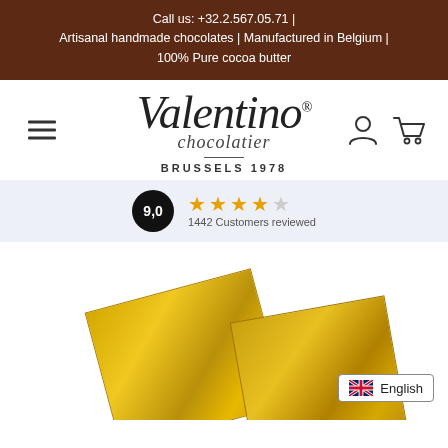Call us: +32.2.567.05.71 | Artisanal handmade chocolates | Manufactured in Belgium | 100% Pure cocoa butter
[Figure (logo): Valentino Chocolatier script logo with 'BRUSSELS 1978' subtitle, hamburger menu icon on left, user and cart icons on right]
9,0 ★★★★☆ 1442 Customers reviewed
[Figure (photo): Two gold-foil wrapped chocolate squares on white background, with English language selector button in bottom right corner]